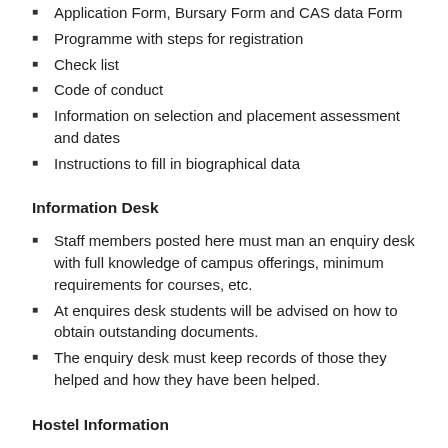Application Form, Bursary Form and CAS data Form
Programme with steps for registration
Check list
Code of conduct
Information on selection and placement assessment and dates
Instructions to fill in biographical data
Information Desk
Staff members posted here must man an enquiry desk with full knowledge of campus offerings, minimum requirements for courses, etc.
At enquires desk students will be advised on how to obtain outstanding documents.
The enquiry desk must keep records of those they helped and how they have been helped.
Hostel Information